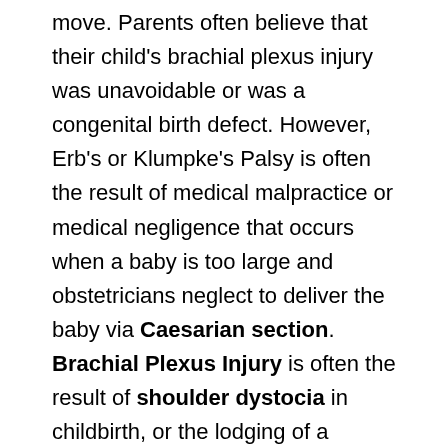move. Parents often believe that their child's brachial plexus injury was unavoidable or was a congenital birth defect. However, Erb's or Klumpke's Palsy is often the result of medical malpractice or medical negligence that occurs when a baby is too large and obstetricians neglect to deliver the baby via Caesarian section. Brachial Plexus Injury is often the result of shoulder dystocia in childbirth, or the lodging of a baby's shoulder behind the mother's pubic bone. In other cases, where medical malpractice has occurred, doctors can use too much force to deliver the baby, which results in nerve damage. Many children with Erb's or Klumpke's Palsy may suffer partial or total paralysis of these parts of the body. Children with some form of Brachial Plexus Injury often need a lifetime of therapy and/or multiple surgeries to help correct